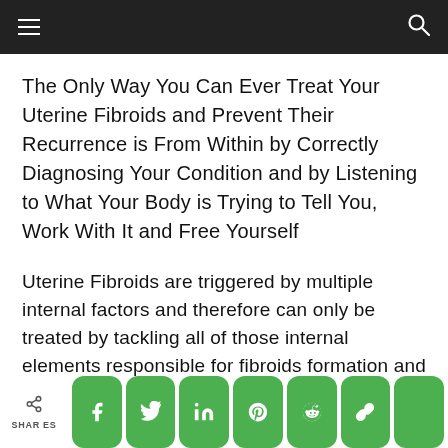navigation bar with hamburger menu and search icon
The Only Way You Can Ever Treat Your Uterine Fibroids and Prevent Their Recurrence is From Within by Correctly Diagnosing Your Condition and by Listening to What Your Body is Trying to Tell You, Work With It and Free Yourself
Uterine Fibroids are triggered by multiple internal factors and therefore can only be treated by tackling all of those internal elements responsible for fibroids formation and not by calming the pain, taking birth control pills, hormones or removing the uterus or the fibroid itself with
SHARES — social share buttons: Facebook, Twitter, LinkedIn, Pinterest, Reddit, Link, Plus